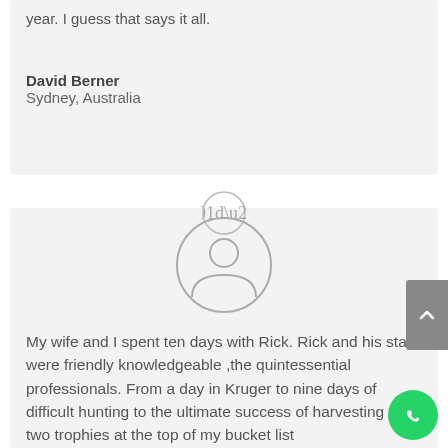year. I guess that says it all.
David Berner
Sydney, Australia
[Figure (illustration): Quotation mark icon in a circle]
[Figure (illustration): Generic user/person avatar icon in a circle]
My wife and I spent ten days with Rick. Rick and his staff were friendly knowledgeable ,the quintessential professionals. From a day in Kruger to nine days of difficult hunting to the ultimate success of harvesting the two trophies at the top of my bucket list